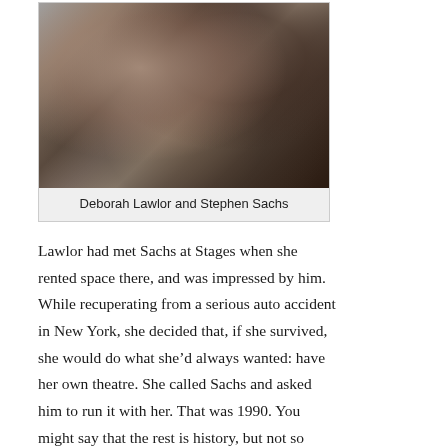[Figure (photo): Two people posing together for a photo. One person is seated wearing a gray top, the other is standing behind wearing dark clothing.]
Deborah Lawlor and Stephen Sachs
Lawlor had met Sachs at Stages when she rented space there, and was impressed by him. While recuperating from a serious auto accident in New York, she decided that, if she survived, she would do what she’d always wanted: have her own theatre. She called Sachs and asked him to run it with her. That was 1990. You might say that the rest is history, but not so fast…